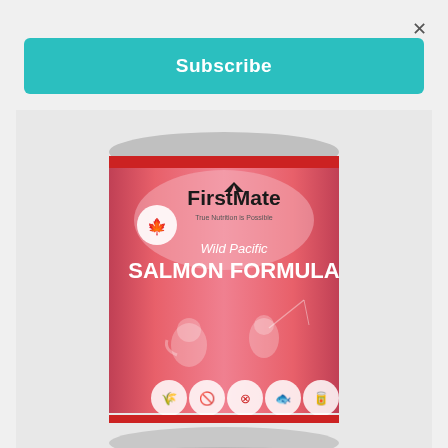×
Subscribe
[Figure (photo): FirstMate Wild Pacific Salmon Formula pet food can with pink label, showing a cat and person fishing silhouette, with icons at the bottom]